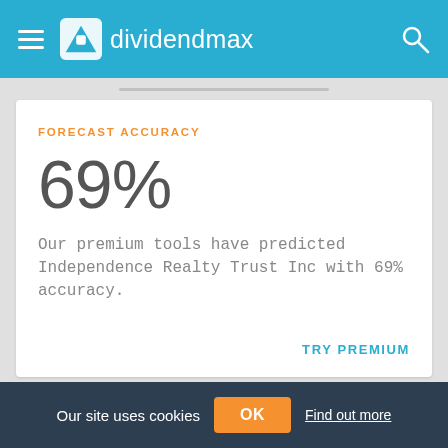dividendmax
FORECAST ACCURACY
69%
Our premium tools have predicted Independence Realty Trust Inc with 69% accuracy.
TRY PREMIUM
DIVIDEND YIELD TODAY
Our site uses cookies
OK
Find out more